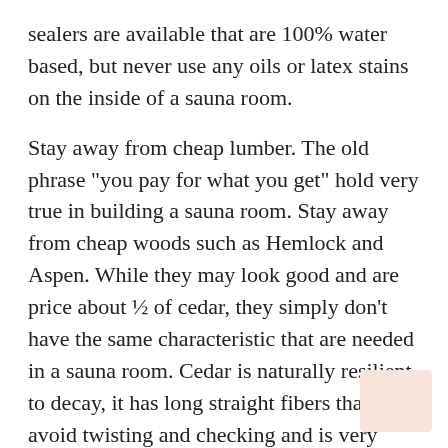sealers are available that are 100% water based, but never use any oils or latex stains on the inside of a sauna room.
Stay away from cheap lumber. The old phrase "you pay for what you get" hold very true in building a sauna room. Stay away from cheap woods such as Hemlock and Aspen. While they may look good and are price about ½ of cedar, they simply don't have the same characteristic that are needed in a sauna room. Cedar is naturally resilient to decay, it has long straight fibers that avoid twisting and checking and is very light and fibrous, meaning it does not heat up. If possible, use cedar when building a sauna room. Almost 100% of commercial saunas are made from cedar simply because it is the best wood for sauna construction both for indoor saunas and outdoor barrel saunas.